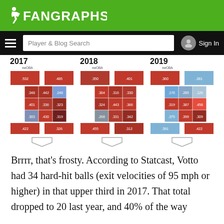FanGraphs
[Figure (other): FanGraphs navigation bar with hamburger menu, Player & Blog Search input, and Sign In button]
[Figure (infographic): Three heat maps side by side for 2017, 2018, and 2019 showing xwOBA values across strike zone regions. 2017: top row 532/485, middle rows 348/442/248, 401/336/323, 303/430/319, bottom 422/326. 2018: top 350/401, middle 364/316/330, 324/443/366, 268/331/342, bottom 455/312. 2019: top 360/281, middle 176/285/126, 319/387/458, 375/399/309, bottom 391/422.]
Brrrr, that's frosty. According to Statcast, Votto had 34 hard-hit balls (exit velocities of 95 mph or higher) in that upper third in 2017. That total dropped to 20 last year, and 40% of the way